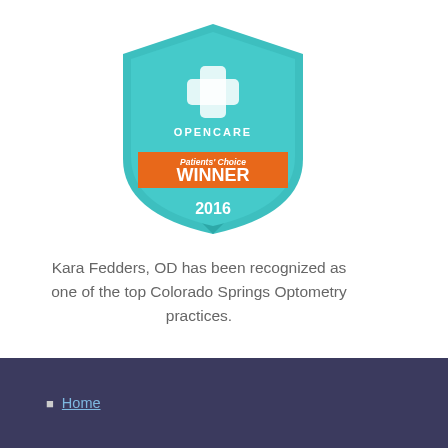[Figure (logo): Opencare Patients' Choice Winner 2016 badge/shield in teal and orange colors with a medical cross logo and ribbon banner]
Kara Fedders, OD has been recognized as one of the top Colorado Springs Optometry practices.
Verified by
Opencare.com
Home